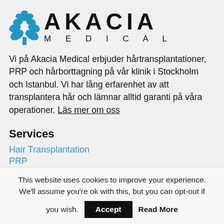[Figure (logo): Akacia Medical logo with a blue tree icon and the text AKACIA MEDICAL]
Vi på Akacia Medical erbjuder hårtransplantationer, PRP och hårborttagning på vår klinik i Stockholm och Istanbul. Vi har lång erfarenhet av att transplantera hår och lämnar alltid garanti på våra operationer. Läs mer om oss
Services
Hair Transplantation
PRP
This website uses cookies to improve your experience. We'll assume you're ok with this, but you can opt-out if you wish. Accept Read More